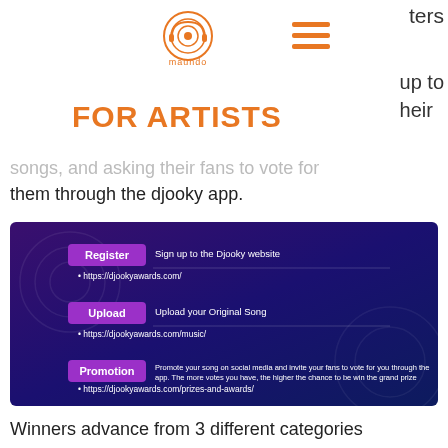ters
[Figure (logo): Maundo circular logo in orange with headphones icon and 'maundo' text below]
[Figure (illustration): Hamburger menu icon (three horizontal orange lines)]
FOR ARTISTS
up to
heir
songs, and asking their fans to vote for them through the djooky app.
[Figure (infographic): Dark blue/purple infographic showing 3 steps: Register (Sign up to the Djooky website, https://djookyawards.com/), Upload (Upload your Original Song, https://djookyawards.com/music/), Promotion (Promote your song on social media and invite your fans to vote for you through the app. The more votes you have, the higher the chance to be win the grand prize, https://djookyawards.com/prizes-and-awards/)]
Winners advance from 3 different categories according to the number of points they receive from their fans.
National Round: This is the 2...